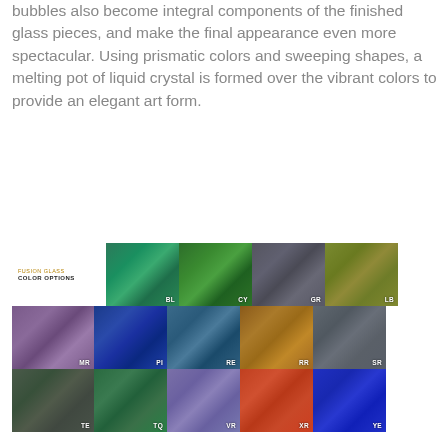bubbles also become integral components of the finished glass pieces, and make the final appearance even more spectacular. Using prismatic colors and sweeping shapes, a melting pot of liquid crystal is formed over the vibrant colors to provide an elegant art form.
[Figure (other): Fusion Glass Color Options grid showing 14 glass color swatches in a 3-row grid. Row 1 (top, partial): BL (blue-green), CY (green), GR (gray), LB (yellow-green). Row 2: MR (mauve/purple), PI (deep blue), RE (teal-blue), RR (amber/orange), SR (silver-gray). Row 3: TE (dark green-gray), TQ (teal-green), VR (purple/violet), XR (red-orange), YE (royal blue). Each swatch labeled with two-letter code.]